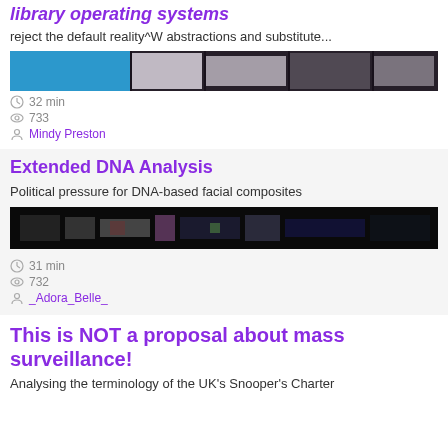library operating systems
reject the default reality^W abstractions and substitute...
[Figure (screenshot): Horizontal strip thumbnail showing colorful screenshot of library operating systems content with blue and dark tones]
32 min
733
Mindy Preston
Extended DNA Analysis
Political pressure for DNA-based facial composites
[Figure (screenshot): Horizontal strip thumbnail showing dark screenshot with DNA analysis content]
31 min
732
_Adora_Belle_
This is NOT a proposal about mass surveillance!
Analysing the terminology of the UK's Snooper's Charter